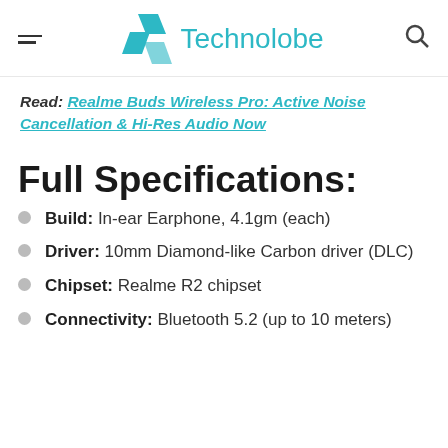Technolobe
Read: Realme Buds Wireless Pro: Active Noise Cancellation & Hi-Res Audio Now
Full Specifications:
Build: In-ear Earphone, 4.1gm (each)
Driver: 10mm Diamond-like Carbon driver (DLC)
Chipset: Realme R2 chipset
Connectivity: Bluetooth 5.2 (up to 10 meters)